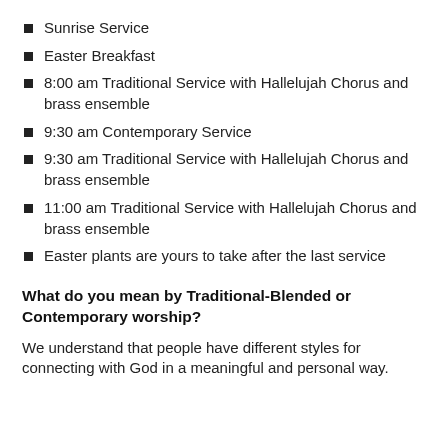Sunrise Service
Easter Breakfast
8:00 am Traditional Service with Hallelujah Chorus and brass ensemble
9:30 am Contemporary Service
9:30 am Traditional Service with Hallelujah Chorus and brass ensemble
11:00 am Traditional Service with Hallelujah Chorus and brass ensemble
Easter plants are yours to take after the last service
What do you mean by Traditional-Blended or Contemporary worship?
We understand that people have different styles for connecting with God in a meaningful and personal way.